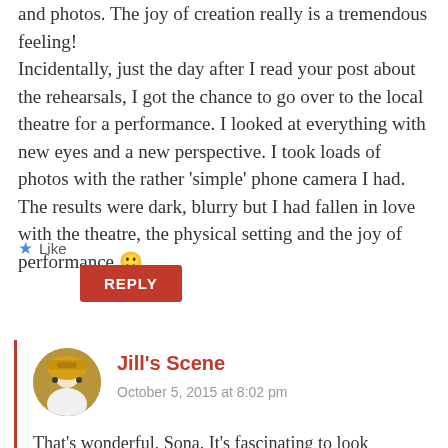and photos. The joy of creation really is a tremendous feeling!
Incidentally, just the day after I read your post about the rehearsals, I got the chance to go over to the local theatre for a performance. I looked at everything with new eyes and a new perspective. I took loads of photos with the rather 'simple' phone camera I had. The results were dark, blurry but I had fallen in love with the theatre, the physical setting and the joy of performance 🙂
★ Like
REPLY
Jill's Scene
October 5, 2015 at 8:02 pm
That's wonderful, Sona. It's fascinating to look